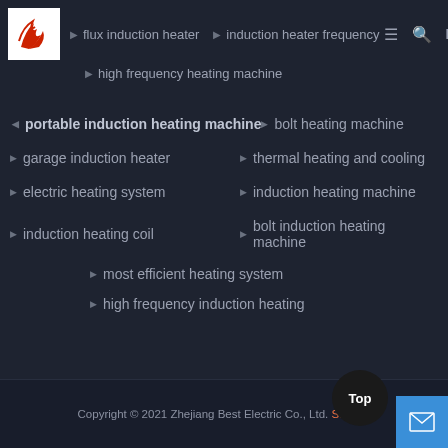flux induction heater | induction heater frequency | high frequency heating machine
portable induction heating machine
bolt heating machine
garage induction heater
thermal heating and cooling
electric heating system
induction heating machine
induction heating coil
bolt induction heating machine
most efficient heating system
high frequency induction heating
Copyright © 2021 Zhejiang Best Electric Co., Ltd. Sitem...